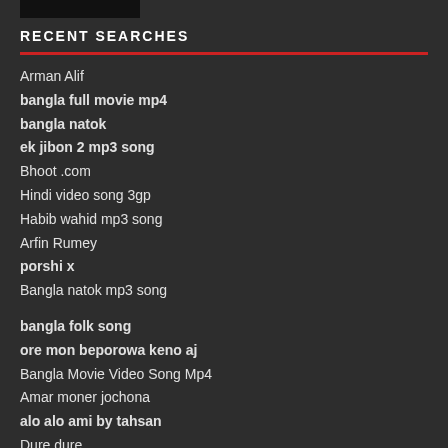[Figure (other): Black logo/image block in top left corner]
RECENT SEARCHES
Arman Alif
bangla full movie mp4
bangla natok
ek jibon 2 mp3 song
Bhoot .com
Hindi video song 3gp
Habib wahid mp3 song
Arfin Rumey
porshi x
Bangla natok mp3 song
bangla folk song
ore mon beporowa keno aj
Bangla Movie Video Song Mp4
Amar moner jochona
alo alo ami by tahsan
Dure dure
□□□